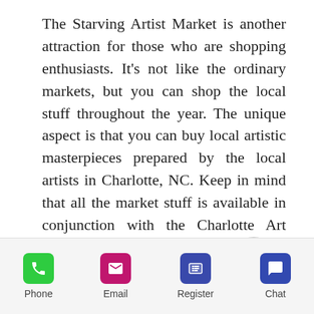The Starving Artist Market is another attraction for those who are shopping enthusiasts. It's not like the ordinary markets, but you can shop the local stuff throughout the year. The unique aspect is that you can buy local artistic masterpieces prepared by the local artists in Charlotte, NC. Keep in mind that all the market stuff is available in conjunction with the Charlotte Art League. You can buy different things in terms of various items such as jewelry, print work, clothing, baby products, bathing products, and ceramics.

Furthermore, the National small
[Figure (other): Scroll-up circular button with chevron/caret icon]
Phone | Email | Register | Chat